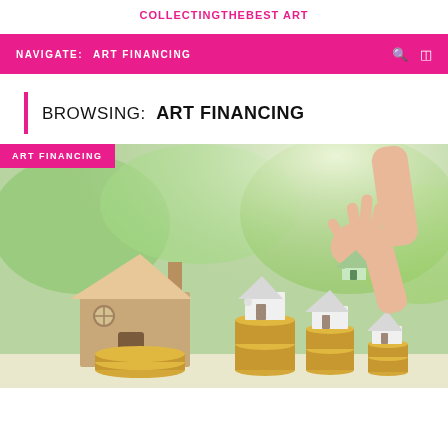COLLECTINGTHEBEST ART
NAVIGATE:  ART FINANCING
BROWSING:  ART FINANCING
[Figure (photo): Hand placing a small model house on top of stacked coins, with larger wooden house model and smaller white house models on coin stacks in a bokeh green background — representing real estate financing or investment concept. Pink ART FINANCING badge overlay in top left.]